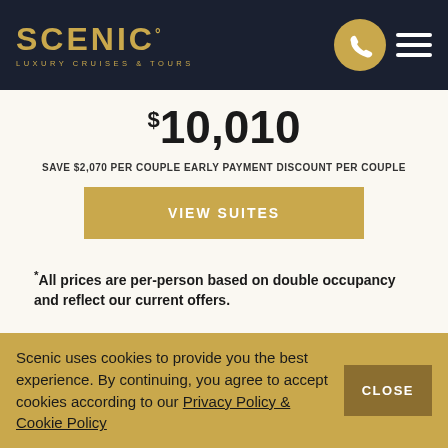SCENIC° LUXURY CRUISES & TOURS
$10,010
SAVE $2,070 PER COUPLE EARLY PAYMENT DISCOUNT PER COUPLE
VIEW SUITES
*All prices are per-person based on double occupancy and reflect our current offers.
Featured Cruises
Scenic uses cookies to provide you the best experience. By continuing, you agree to accept cookies according to our Privacy Policy & Cookie Policy